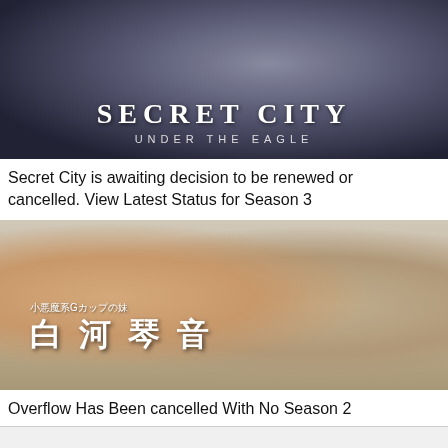[Figure (photo): Secret City: Under the Eagle TV show promotional banner with two women and dramatic sky background, white text overlay reading SECRET CITY UNDER THE EAGLE]
Secret City is awaiting decision to be renewed or cancelled. View Latest Status for Season 3
[Figure (photo): Overflow anime show promotional image showing two anime characters, with Japanese text overlay reading 小悪魔系Gカップの妹 and 白河琴音]
Overflow Has Been cancelled With No Season 2